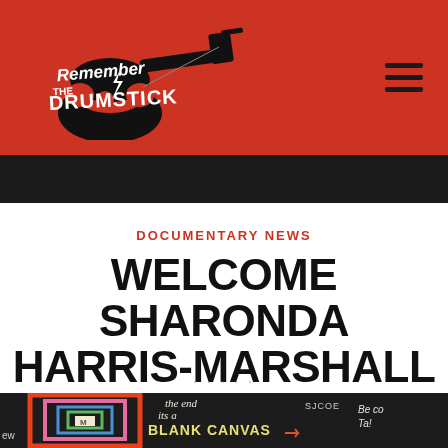Remember The Drumstick
DOCUMENTARY NEWS
WELCOME SHARONDA HARRIS-MARSHALL
[Figure (photo): Colorful chalk art on a blackboard with text reading 'the end its a BLANK CANVAS', 'SJCOE', 'Be co... Ta!' and colorful square frames drawn in chalk]